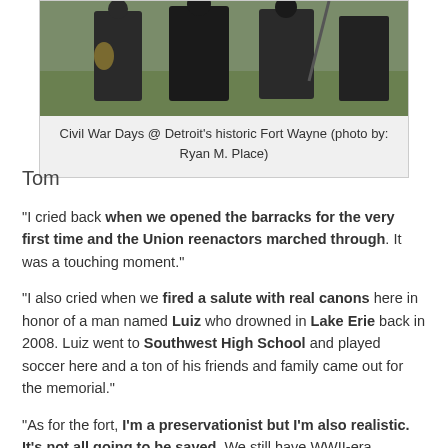[Figure (photo): Photo of Civil War reenactors in dark uniforms standing on grass, partially cropped at top]
Civil War Days @ Detroit's historic Fort Wayne (photo by: Ryan M. Place)
Tom
“I cried back when we opened the barracks for the very first time and the Union reenactors marched through. It was a touching moment.”
“I also cried when we fired a salute with real canons here in honor of a man named Luiz who drowned in Lake Erie back in 2008. Luiz went to Southwest High School and played soccer here and a ton of his friends and family came out for the memorial.”
“As for the fort, I’m a preservationist but I’m also realistic. It’s not all going to be saved. We still have WWII-era electrical here, no insulation on the power